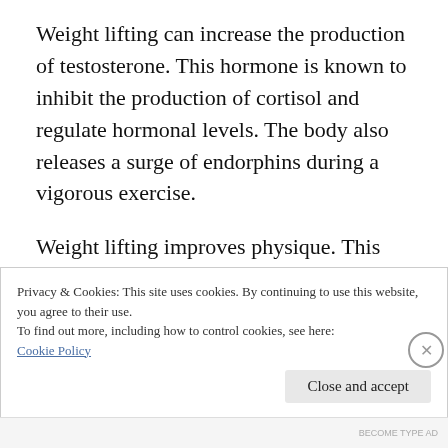Weight lifting can increase the production of testosterone. This hormone is known to inhibit the production of cortisol and regulate hormonal levels. The body also releases a surge of endorphins during a vigorous exercise.
Weight lifting improves physique. This can help to create a greater sense of self-esteem for some people.
Privacy & Cookies: This site uses cookies. By continuing to use this website, you agree to their use.
To find out more, including how to control cookies, see here:
Cookie Policy